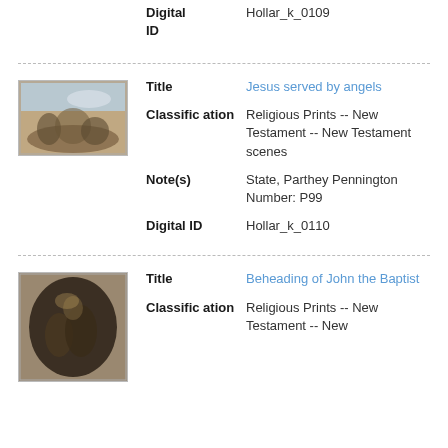| Field | Value |
| --- | --- |
| Digital ID | Hollar_k_0109 |
[Figure (photo): Small thumbnail image of a religious print showing Jesus served by angels, landscape orientation with figures in a scene]
| Field | Value |
| --- | --- |
| Title | Jesus served by angels |
| Classification | Religious Prints -- New Testament -- New Testament scenes |
| Note(s) | State, Parthey Pennington Number: P99 |
| Digital ID | Hollar_k_0110 |
[Figure (photo): Small thumbnail image of a religious print showing Beheading of John the Baptist, oval portrait orientation with figures in a scene]
| Field | Value |
| --- | --- |
| Title | Beheading of John the Baptist |
| Classification | Religious Prints -- New Testament -- New |